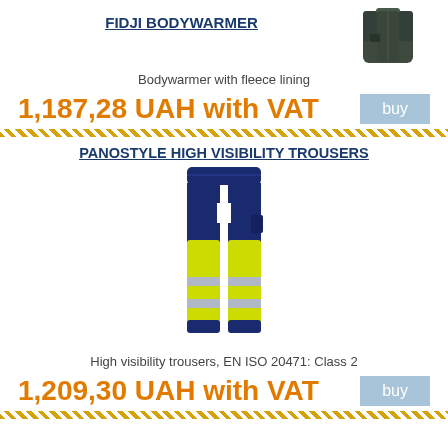FIDJI BODYWARMER
[Figure (photo): Photo of a dark green/black bodywarmer vest, partially visible at top right]
Bodywarmer with fleece lining
1,187,28 UAH with VAT
buy
PANOSTYLE HIGH VISIBILITY TROUSERS
[Figure (photo): Photo of high visibility trousers with navy blue upper and waistband, yellow-green lower legs, and silver reflective stripes]
High visibility trousers, EN ISO 20471: Class 2
1,209,30 UAH with VAT
buy